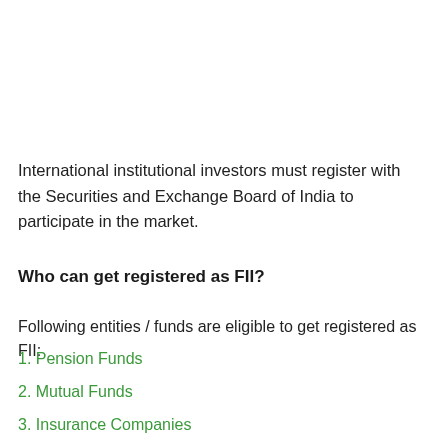International institutional investors must register with the Securities and Exchange Board of India to participate in the market.
Who can get registered as FII?
Following entities / funds are eligible to get registered as FII:
1. Pension Funds
2. Mutual Funds
3. Insurance Companies
4. Investment Trusts